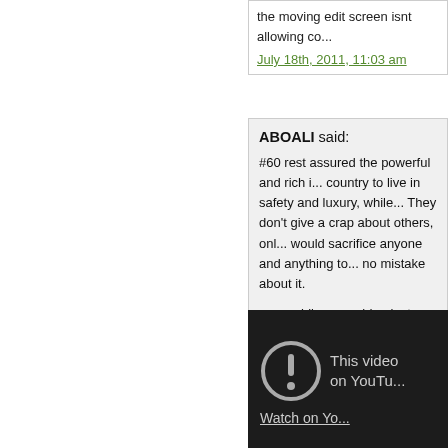the moving edit screen isnt allowing co...
July 18th, 2011, 11:03 am
ABOALI said:
#60 rest assured the powerful and rich i... country to live in safety and luxury, while... They don't give a crap about others, onl... would sacrifice anyone and anything to... no mistake about it.
meanwhile, new video just released:
video clearly showing security forces firi...
[Figure (screenshot): YouTube video embed showing 'This video on YouTu...' message with exclamation icon and 'Watch on Yo...' link, dark background]